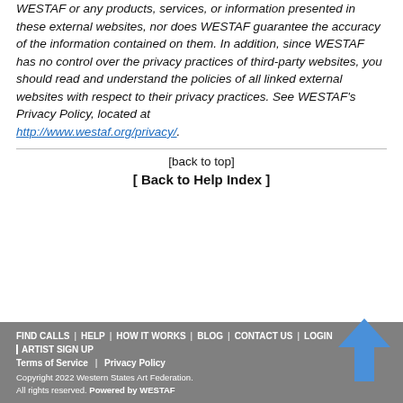WESTAF or any products, services, or information presented in these external websites, nor does WESTAF guarantee the accuracy of the information contained on them. In addition, since WESTAF has no control over the privacy practices of third-party websites, you should read and understand the policies of all linked external websites with respect to their privacy practices. See WESTAF's Privacy Policy, located at http://www.westaf.org/privacy/.
[back to top]
[ Back to Help Index ]
FIND CALLS | HELP | HOW IT WORKS | BLOG | CONTACT US | LOGIN
ARTIST SIGN UP
Terms of Service | Privacy Policy
Copyright 2022 Western States Art Federation. All rights reserved. Powered by WESTAF